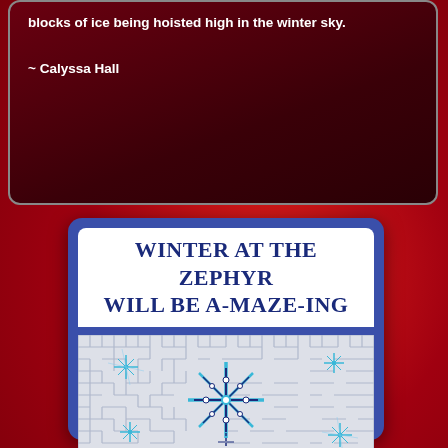blocks of ice being hoisted high in the winter sky.
~ Calyssa Hall
Winter at The Zephyr will be a-MAZE-ing
[Figure (illustration): A maze puzzle with a large decorative snowflake in the center and smaller snowflakes scattered around, on a light grey background.]